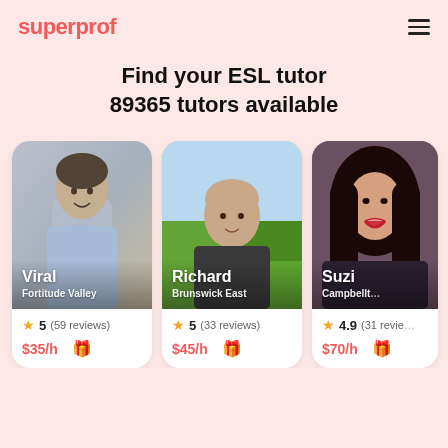superprof
Find your ESL tutor
89365 tutors available
[Figure (photo): Tutor card for Viral, Fortitude Valley. Rating 5 (59 reviews). Price $35/h.]
[Figure (photo): Tutor card for Richard, Brunswick East. Rating 5 (33 reviews). Price $45/h.]
[Figure (photo): Tutor card for Suzi, Campbelltown. Rating 4.9 (31 reviews). Price $70/h.]